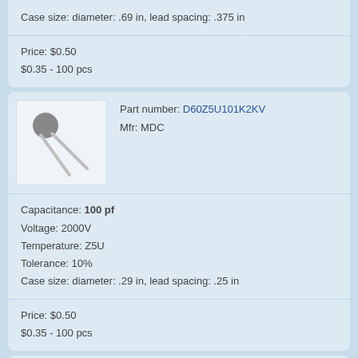Case size: diameter: .69 in, lead spacing: .375 in
Price: $0.50
$0.35 - 100 pcs
[Figure (illustration): Disc capacitor component with two leads extending diagonally]
Part number: D60Z5U101K2KV
Mfr: MDC
Capacitance: 100 pf
Voltage: 2000V
Temperature: Z5U
Tolerance: 10%
Case size: diameter: .29 in, lead spacing: .25 in
Price: $0.50
$0.35 - 100 pcs
[Figure (illustration): Disc capacitor component with two leads, partial view at bottom of page]